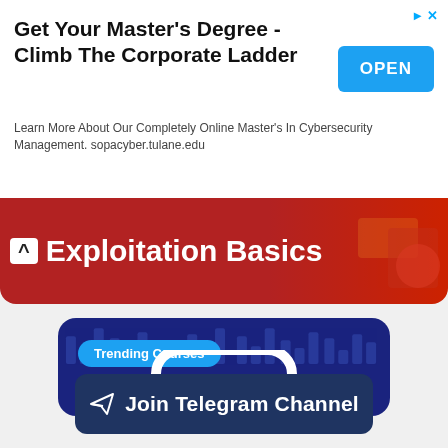[Figure (screenshot): Advertisement banner: Get Your Master's Degree - Climb The Corporate Ladder. Learn More About Our Completely Online Master's In Cybersecurity Management. sopacyber.tulane.edu. OPEN button on the right.]
Get Your Master's Degree - Climb The Corporate Ladder
Learn More About Our Completely Online Master's In Cybersecurity Management. sopacyber.tulane.edu
[Figure (screenshot): Section header area showing Exploitation Basics text on a dark red background with chevron-up icon on the left and decorative image on the right.]
Exploitation Basics
[Figure (screenshot): Blue card with Trending Courses badge and a phone shape illustration on dark blue background with decorative chart icons.]
Trending Courses
Join Telegram Channel